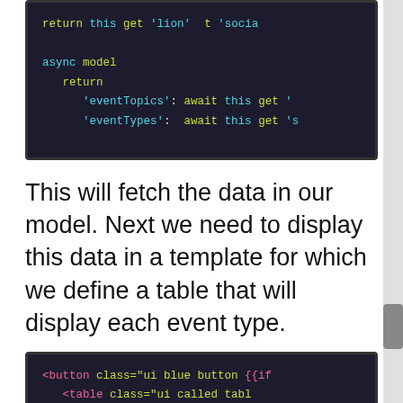[Figure (screenshot): Code block showing: return this get 'lion' t 'social / async model / return / 'eventTopics': await this get ' / 'eventTypes': await this get 's]
This will fetch the data in our model. Next we need to display this data in a template for which we define a table that will display each event type.
[Figure (screenshot): Code block showing: <button class="ui blue button {{if / <table class="ui called tabl...]